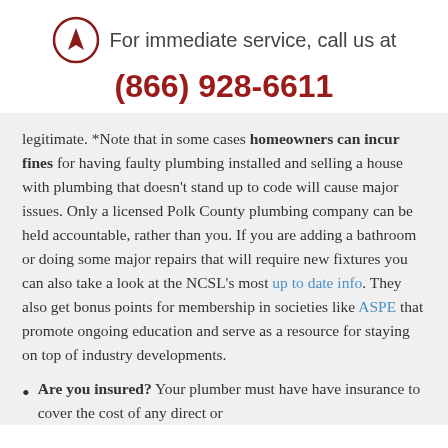[Figure (logo): Circular logo with an arrow/navigation icon inside, dark red border]
For immediate service, call us at
(866) 928-6611
legitimate. *Note that in some cases homeowners can incur fines for having faulty plumbing installed and selling a house with plumbing that doesn't stand up to code will cause major issues. Only a licensed Polk County plumbing company can be held accountable, rather than you. If you are adding a bathroom or doing some major repairs that will require new fixtures you can also take a look at the NCSL's most up to date info. They also get bonus points for membership in societies like ASPE that promote ongoing education and serve as a resource for staying on top of industry developments.
Are you insured? Your plumber must have have insurance to cover the cost of any direct or